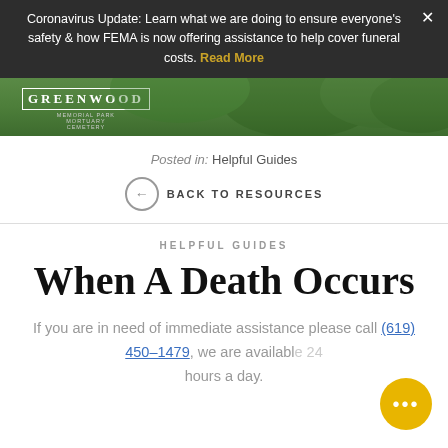Coronavirus Update: Learn what we are doing to ensure everyone's safety & how FEMA is now offering assistance to help cover funeral costs. Read More
[Figure (photo): Greenwood Memorial Park logo overlaid on a background of green trees]
Posted in: Helpful Guides
← BACK TO RESOURCES
HELPFUL GUIDES
When A Death Occurs
If you are in need of immediate assistance please call (619) 450-1479, we are available 24 hours a day.